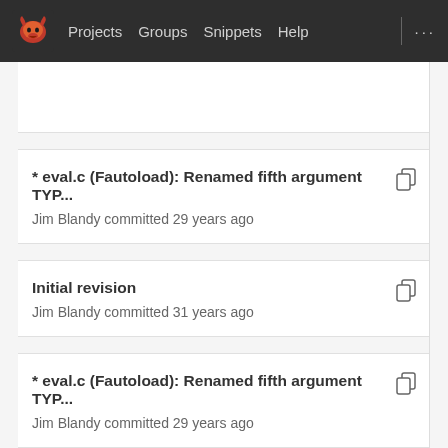Projects  Groups  Snippets  Help  ...
* eval.c (Fautoload): Renamed fifth argument TYP...
Jim Blandy committed 29 years ago
Initial revision
Jim Blandy committed 31 years ago
* eval.c (Fautoload): Renamed fifth argument TYP...
Jim Blandy committed 29 years ago